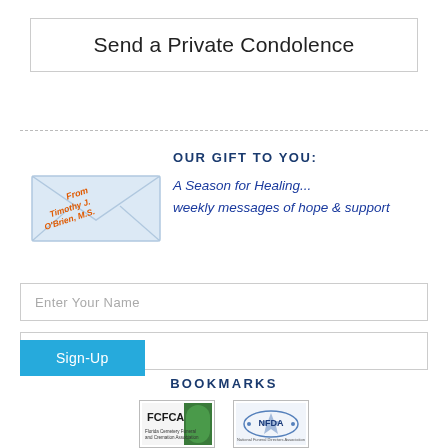Send a Private Condolence
[Figure (illustration): Envelope illustration with 'From Timothy J. O'Brien, M.S.' text overlay]
OUR GIFT TO YOU: A Season for Healing... weekly messages of hope & support
Enter Your Name
Enter Your Email
Sign-Up
BOOKMARKS
[Figure (logo): FCFCA - Florida Cemetery Funeral and Cremation Association logo]
[Figure (logo): NFDA - National Funeral Directors Association logo]